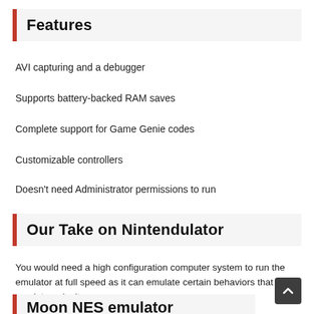Features
AVI capturing and a debugger
Supports battery-backed RAM saves
Complete support for Game Genie codes
Customizable controllers
Doesn't need Administrator permissions to run
Our Take on Nintendulator
You would need a high configuration computer system to run the emulator at full speed as it can emulate certain behaviors that other emulators don't.
Moon NES emulator